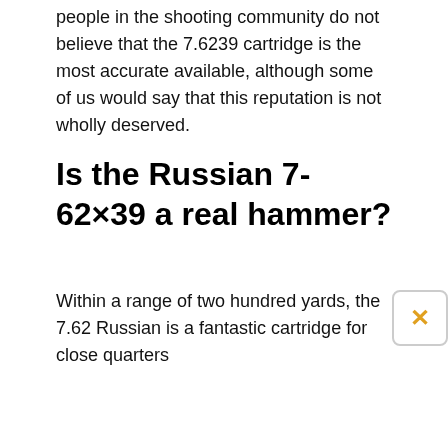people in the shooting community do not believe that the 7.6239 cartridge is the most accurate available, although some of us would say that this reputation is not wholly deserved.
Is the Russian 7-62×39 a real hammer?
Within a range of two hundred yards, the 7.62 Russian is a fantastic cartridge for close quarters